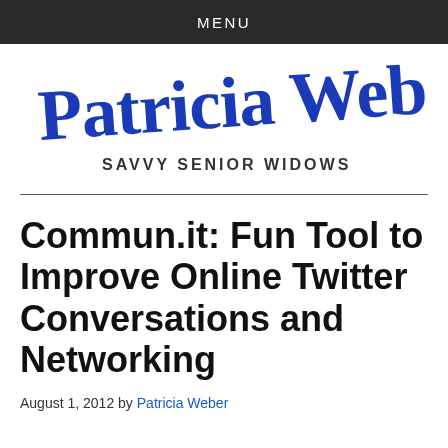MENU
[Figure (logo): Patricia Weber Savvy Senior Widows logo in blue script with subtitle]
Commun.it: Fun Tool to Improve Online Twitter Conversations and Networking
August 1, 2012 by Patricia Weber